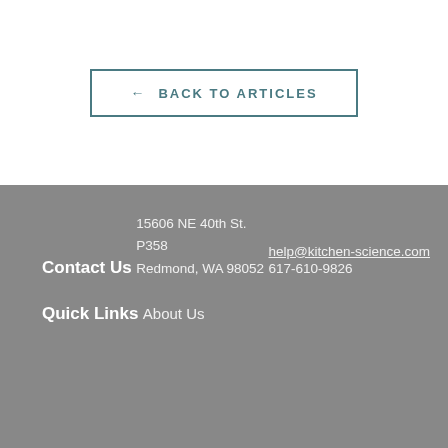← BACK TO ARTICLES
Contact Us
15606 NE 40th St.
P358
Redmond, WA 98052
help@kitchen-science.com
617-610-9826
Quick Links
About Us